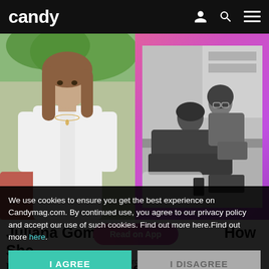candy
[Figure (photo): Two-photo collage: left photo shows a young woman with long hair wearing a white open shirt outdoors near greenery; right photo is a black and white image of a couple lounging together indoors on a bed or couch, with the man leaning toward the woman. Right photo has a pink/purple gradient border.]
Juliana Gomez [Read on App] How She Formally Introduced Her Boyfriend t...
Juliana Gomez reveals how she introduced her boyfriend to her
We use cookies to ensure you get the best experience on Candymag.com. By continued use, you agree to our privacy policy and accept our use of such cookies. Find out more here.Find out more here.
I AGREE
I DISAGREE